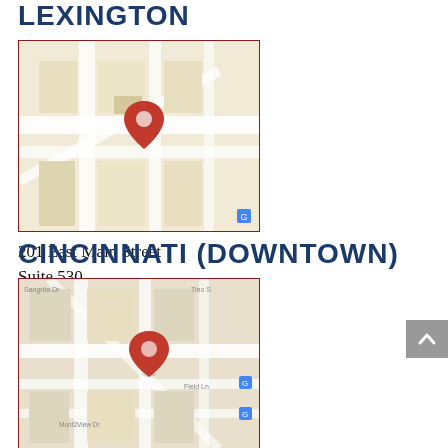LEXINGTON
[Figure (map): Map showing location of Lexington law office at 201 East Main Street with a red pin marker]
201 East Main Street
Suite 530
Lexington, KY 40507
Lexington Law Office
CINCINNATI (DOWNTOWN)
[Figure (map): Map showing location of Cincinnati downtown law office at 810 Sycamore Street with a red pin marker]
810 Sycamore Street
Cincinnati, OH 45202
Cincinnati Law Office